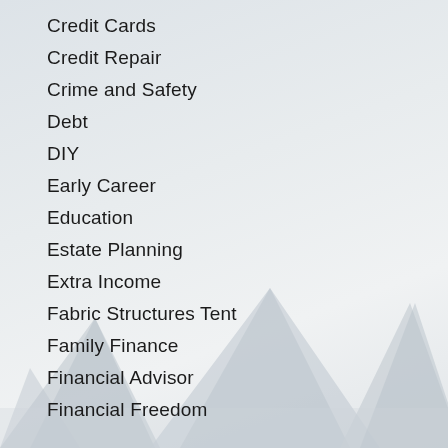Credit Cards
Credit Repair
Crime and Safety
Debt
DIY
Early Career
Education
Estate Planning
Extra Income
Fabric Structures Tent
Family Finance
Financial Advisor
Financial Freedom
[Figure (illustration): Background decorative image of fabric tent/pyramid structures in muted grey-blue tones at the bottom of the page]